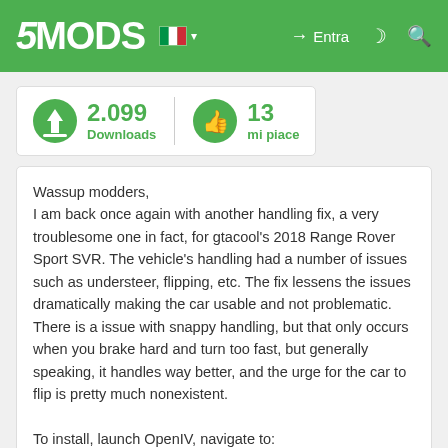5MODS — Entra (navigation bar)
2.099 Downloads
13 mi piace
Wassup modders,
I am back once again with another handling fix, a very troublesome one in fact, for gtacool's 2018 Range Rover Sport SVR. The vehicle's handling had a number of issues such as understeer, flipping, etc. The fix lessens the issues dramatically making the car usable and not problematic. There is a issue with snappy handling, but that only occurs when you brake hard and turn too fast, but generally speaking, it handles way better, and the urge for the car to flip is pretty much nonexistent.

To install, launch OpenIV, navigate to:
mods > update > x64 > dlcpacks > 18SVR > dlc.rpf > data
And then drag the provided handling.meta file I gave you into OpenIV, and replace the old one.